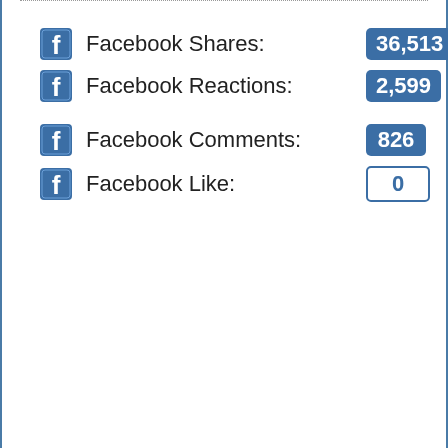Facebook Shares: 36,513
Facebook Reactions: 2,599
Facebook Comments: 826
Facebook Like: 0